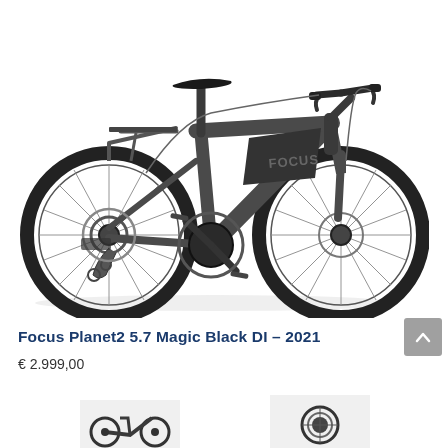[Figure (photo): Electric bicycle - Focus Planet2 5.7, dark gray/black color, city e-bike with rear rack, disc brakes, and Shimano drivetrain, shown on white background in side profile view.]
Focus Planet2 5.7 Magic Black DI – 2021
€ 2.999,00
[Figure (photo): Partial thumbnail image of the bicycle, left side, bottom of page.]
[Figure (photo): Partial thumbnail image of bicycle component/detail, bottom right of page.]